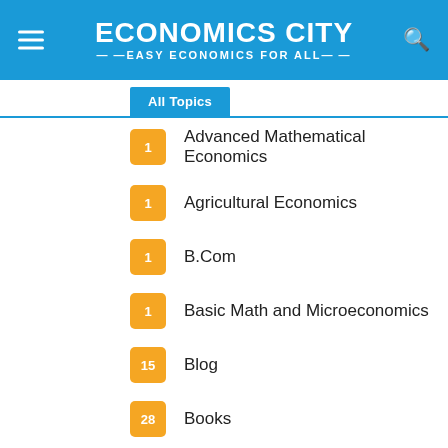ECONOMICS CITY — EASY ECONOMICS FOR ALL
All Topics
1  Advanced Mathematical Economics
1  Agricultural Economics
1  B.Com
1  Basic Math and Microeconomics
15  Blog
28  Books
31  Development Economics
2  ECO401 Virtual University
2  Econometrics
38  Economics
3  Economics of Pakistan